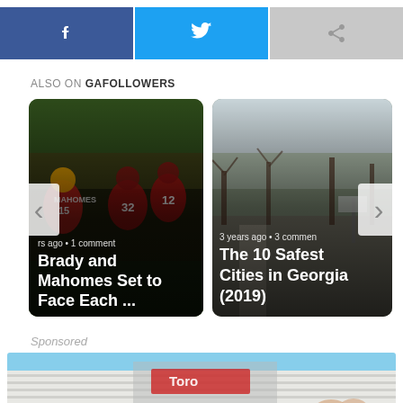[Figure (screenshot): Social share buttons: Facebook (blue), Twitter (light blue), and a share/forward button (gray)]
ALSO ON GAFOLLOWERS
[Figure (screenshot): Carousel of article cards. Left card: football players photo, 'Brady and Mahomes Set to Face Each ...' with '...rs ago • 1 comment'. Right card: suburban street photo, 'The 10 Safest Cities in Georgia (2019)' with '3 years ago • 3 comments'. Left arrow (<) and right arrow (>) navigation buttons.]
Sponsored
[Figure (photo): Partial sponsored image showing blue sky and house siding with hands visible]